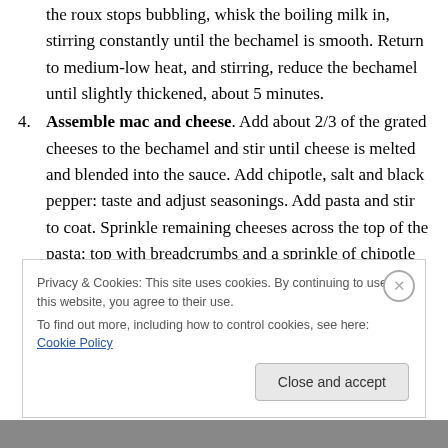the roux stops bubbling, whisk the boiling milk in, stirring constantly until the bechamel is smooth. Return to medium-low heat, and stirring, reduce the bechamel until slightly thickened, about 5 minutes.
4. Assemble mac and cheese. Add about 2/3 of the grated cheeses to the bechamel and stir until cheese is melted and blended into the sauce. Add chipotle, salt and black pepper: taste and adjust seasonings. Add pasta and stir to coat. Sprinkle remaining cheeses across the top of the pasta; top with breadcrumbs and a sprinkle of chipotle powder.
Privacy & Cookies: This site uses cookies. By continuing to use this website, you agree to their use. To find out more, including how to control cookies, see here: Cookie Policy